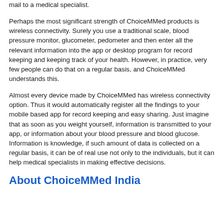mail to a medical specialist.
Perhaps the most significant strength of ChoiceMMed products is wireless connectivity. Surely you use a traditional scale, blood pressure monitor, glucometer, pedometer and then enter all the relevant information into the app or desktop program for record keeping and keeping track of your health. However, in practice, very few people can do that on a regular basis, and ChoiceMMed understands this.
Almost every device made by ChoiceMMed has wireless connectivity option. Thus it would automatically register all the findings to your mobile based app for record keeping and easy sharing. Just imagine that as soon as you weight yourself, information is transmitted to your app, or information about your blood pressure and blood glucose. Information is knowledge, if such amount of data is collected on a regular basis, it can be of real use not only to the individuals, but it can help medical specialists in making effective decisions.
About ChoiceMMed India